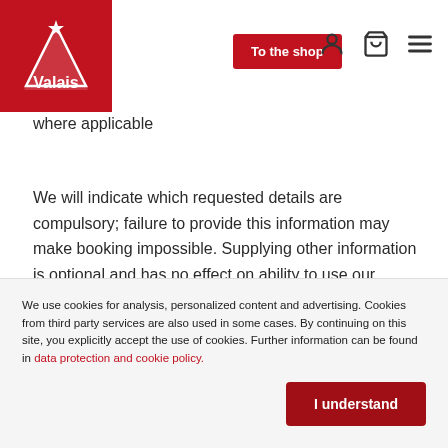Valais — To the shop [navigation header]
where applicable
We will indicate which requested details are compulsory; failure to provide this information may make booking impossible. Supplying other information is optional and has no effect on ability to use our website.
The data you supply is usually collected direct by the relevant service provider or by MRAG, or in the case of
We use cookies for analysis, personalized content and advertising. Cookies from third party services are also used in some cases. By continuing on this site, you explicitly accept the use of cookies. Further information can be found in data protection and cookie policy.